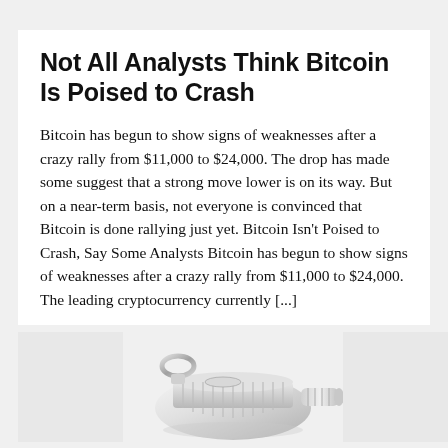Not All Analysts Think Bitcoin Is Poised to Crash
Bitcoin has begun to show signs of weaknesses after a crazy rally from $11,000 to $24,000. The drop has made some suggest that a strong move lower is on its way. But on a near-term basis, not everyone is convinced that Bitcoin is done rallying just yet. Bitcoin Isn't Poised to Crash, Say Some Analysts Bitcoin has begun to show signs of weaknesses after a crazy rally from $11,000 to $24,000. The leading cryptocurrency currently [...]
[Figure (photo): A silver metal whistle photographed against a white/light background, centered in the lower portion of the page, flanked by two light gray rectangular image placeholders on either side.]